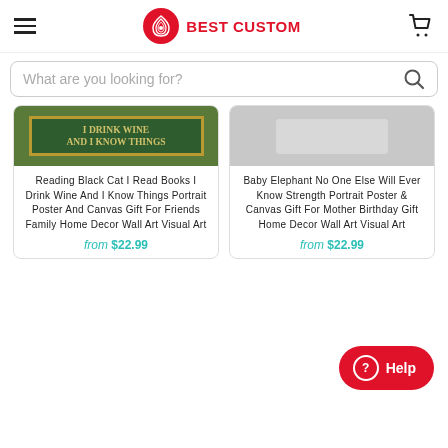BEST CUSTOM
What are you looking for?
[Figure (screenshot): Product card: Reading Black Cat I Read Books I Drink Wine And I Know Things Portrait Poster And Canvas Gift For Friends Family Home Decor Wall Art Visual Art - from $22.99]
[Figure (screenshot): Product card: Baby Elephant No One Else Will Ever Know Strength Portrait Poster & Canvas Gift For Mother Birthday Gift Home Decor Wall Art Visual Art - from $22.99]